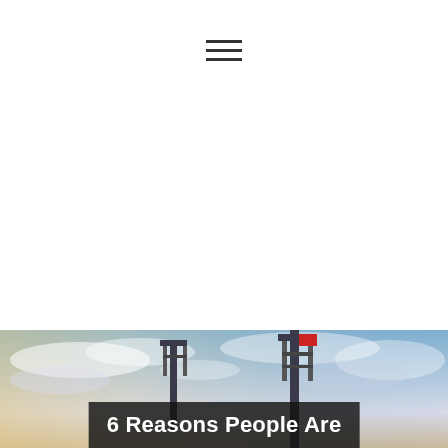☰
[Figure (photo): Outdoor photo showing industrial cranes or bridge towers against a dramatic cloudy sky at dusk with blue and warm tones]
6 Reasons People Are